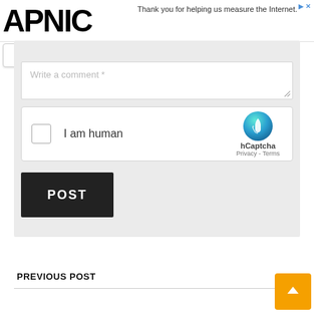APNIC
Thank you for helping us measure the Internet.
[Figure (screenshot): APNIC website comment form with a text area labeled 'Write a comment *', an hCaptcha widget with 'I am human' checkbox and hCaptcha branding showing Privacy - Terms links, and a POST button]
PREVIOUS POST